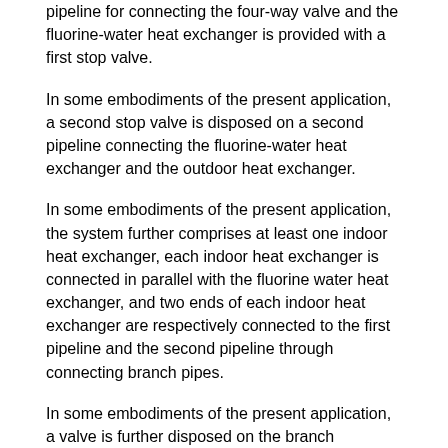pipeline for connecting the four-way valve and the fluorine-water heat exchanger is provided with a first stop valve.
In some embodiments of the present application, a second stop valve is disposed on a second pipeline connecting the fluorine-water heat exchanger and the outdoor heat exchanger.
In some embodiments of the present application, the system further comprises at least one indoor heat exchanger, each indoor heat exchanger is connected in parallel with the fluorine water heat exchanger, and two ends of each indoor heat exchanger are respectively connected to the first pipeline and the second pipeline through connecting branch pipes.
In some embodiments of the present application, a valve is further disposed on the branch connecting pipe between the first pipeline and the indoor heat exchanger, and the valve is used for controlling an amount of refrigerant flowing into the indoor heat exchanger.
In some embodiments of the present application, a first expansion valve is further disposed between the second stop valve and the indoor heat exchanger.